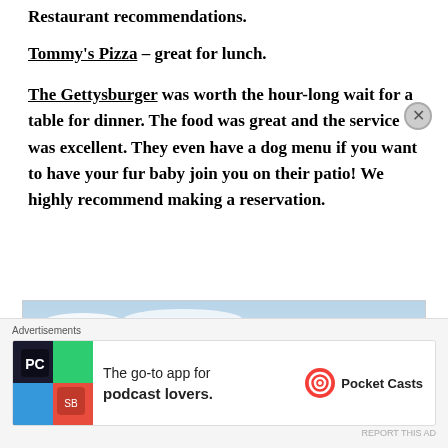Restaurant recommendations.
Tommy's Pizza – great for lunch.
The Gettysburger was worth the hour-long wait for a table for dinner. The food was great and the service was excellent. They even have a dog menu if you want to have your fur baby join you on their patio! We highly recommend making a reservation.
[Figure (photo): Outdoor sky photo with clouds and trees in the distance]
Advertisements — The go-to app for podcast lovers. Pocket Casts